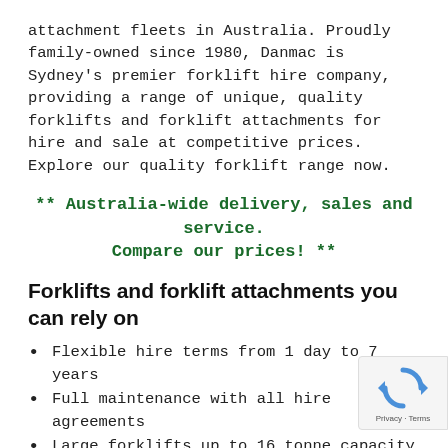attachment fleets in Australia. Proudly family-owned since 1980, Danmac is Sydney's premier forklift hire company, providing a range of unique, quality forklifts and forklift attachments for hire and sale at competitive prices. Explore our quality forklift range now.
** Australia-wide delivery, sales and service. Compare our prices! **
Forklifts and forklift attachments you can rely on
Flexible hire terms from 1 day to 7 years
Full maintenance with all hire agreements
Large forklifts up to 16 tonne capacity
High lift capability forklifts with up to 138 mm
Fleet of unique attachments to cover most